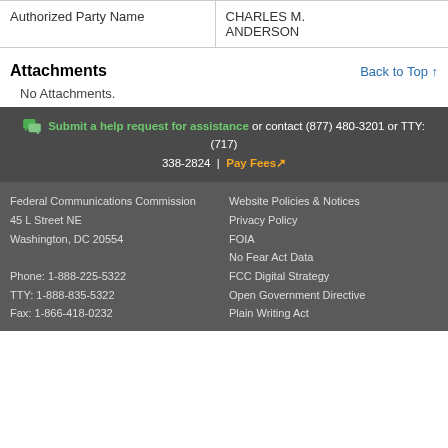| Authorized Party Name | CHARLES M. ANDERSON |
| --- | --- |
Attachments
Back to Top ↑
No Attachments.
Submit a help request for assistance or contact (877) 480-3201 or TTY: (717) 338-2824 | Pay Fees
Federal Communications Commission
45 L Street NE
Washington, DC 20554

Phone: 1-888-225-5322
TTY: 1-888-835-5322
Fax: 1-866-418-0232

Website Policies & Notices
Privacy Policy
FOIA
No Fear Act Data
FCC Digital Strategy
Open Government Directive
Plain Writing Act